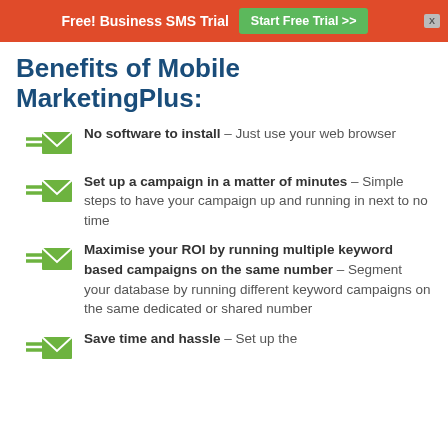Free! Business SMS Trial   Start Free Trial >>
Benefits of Mobile MarketingPlus:
No software to install – Just use your web browser
Set up a campaign in a matter of minutes – Simple steps to have your campaign up and running in next to no time
Maximise your ROI by running multiple keyword based campaigns on the same number – Segment your database by running different keyword campaigns on the same dedicated or shared number
Save time and hassle – Set up the